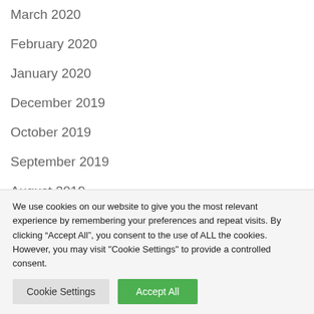March 2020
February 2020
January 2020
December 2019
October 2019
September 2019
August 2019
We use cookies on our website to give you the most relevant experience by remembering your preferences and repeat visits. By clicking “Accept All”, you consent to the use of ALL the cookies. However, you may visit "Cookie Settings" to provide a controlled consent.
Cookie Settings | Accept All